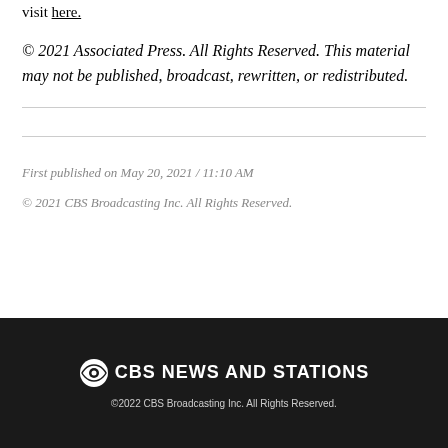visit here.
© 2021 Associated Press. All Rights Reserved. This material may not be published, broadcast, rewritten, or redistributed.
First published on May 20, 2021 / 11:10 AM
© 2021 CBS Broadcasting Inc. All Rights Reserved.
©2022 CBS Broadcasting Inc. All Rights Reserved.